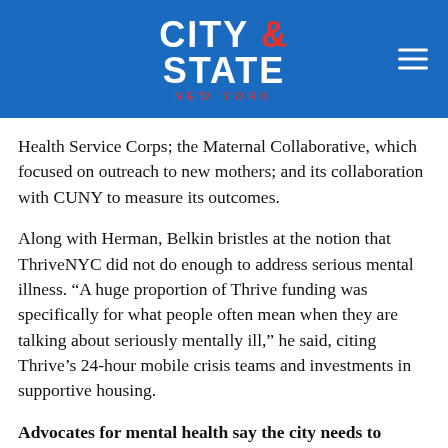[Figure (logo): City & State New York logo on blue background with hamburger menu icon]
Health Service Corps; the Maternal Collaborative, which focused on outreach to new mothers; and its collaboration with CUNY to measure its outcomes.
Along with Herman, Belkin bristles at the notion that ThriveNYC did not do enough to address serious mental illness. “A huge proportion of Thrive funding was specifically for what people often mean when they are talking about seriously mentally ill,” he said, citing Thrive’s 24-hour mobile crisis teams and investments in supportive housing.
Advocates for mental health say the city needs to dedicate more resources to addressing the issue in the wake of the pandemic. “A lot of people